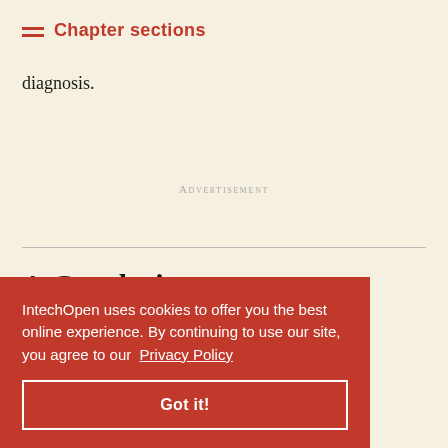Chapter sections
diagnosis.
Advertisement
4. Conclusion
omparative s for ECG on the at noising methods. The second one was to compare some
IntechOpen uses cookies to offer you the best online experience. By continuing to use our site, you agree to our Privacy Policy Got it!